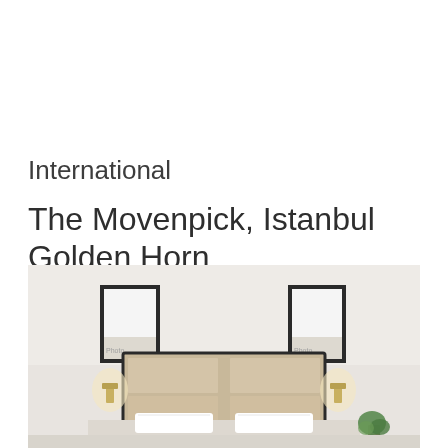International
The Movenpick, Istanbul Golden Horn
[Figure (photo): Hotel room interior showing a neatly made bed with a padded beige headboard, white pillows, two framed artworks on the wall on either side, warm wall sconce lighting on both sides, and a small green plant visible at the bottom right. The walls are light grey/white.]